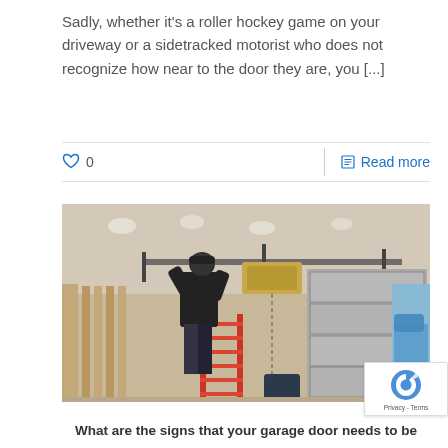Sadly, whether it's a roller hockey game on your driveway or a sidetracked motorist who does not recognize how near to the door they are, you [...]
0  |  Read more
[Figure (photo): A person standing on a red ladder inside a garage, installing or servicing a garage door opener attached to the ceiling. The garage door is partially visible, and a vehicle can be seen through a partially open door on the right.]
What are the signs that your garage door needs to be